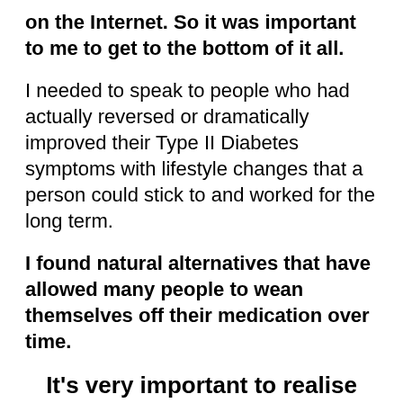on the Internet. So it was important to me to get to the bottom of it all.
I needed to speak to people who had actually reversed or dramatically improved their Type II Diabetes symptoms with lifestyle changes that a person could stick to and worked for the long term.
I found natural alternatives that have allowed many people to wean themselves off their medication over time.
It's very important to realise that having diabetes is not a life sentence.